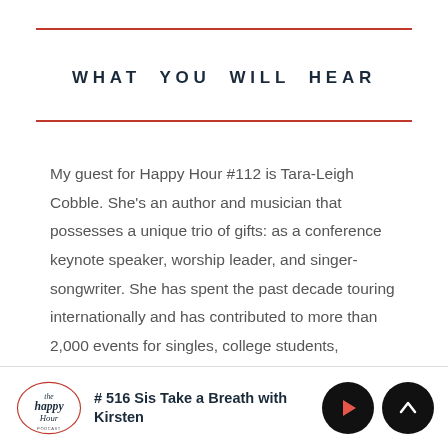WHAT YOU WILL HEAR
My guest for Happy Hour #112 is Tara-Leigh Cobble. She’s an author and musician that possesses a unique trio of gifts: as a conference keynote speaker, worship leader, and singer-songwriter. She has spent the past decade touring internationally and has contributed to more than 2,000 events for singles, college students,
# 516 Sis Take a Breath with Kirsten